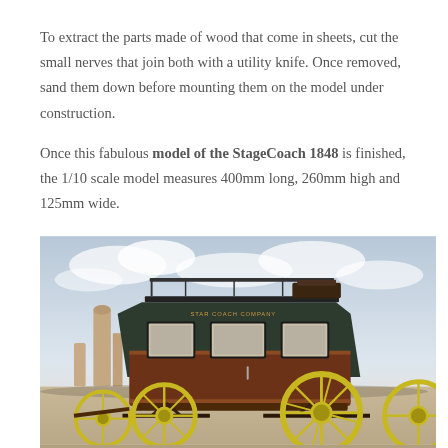To extract the parts made of wood that come in sheets, cut the small nerves that join both with a utility knife. Once removed, sand them down before mounting them on the model under construction.
Once this fabulous model of the StageCoach 1848 is finished, the 1/10 scale model measures 400mm long, 260mm high and 125mm wide.
[Figure (photo): Photo of a detailed scale model of a StageCoach 1848 with yellow spoked wheels, dark green canvas cover, brown wooden coach body, set against a desert landscape with rock formations and a cloudy sky.]